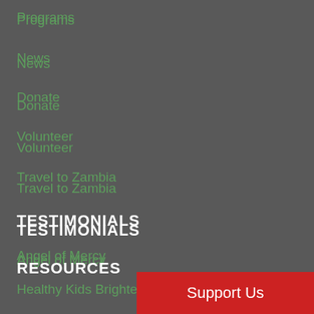Programs
News
Donate
Volunteer
Travel to Zambia
TESTIMONIALS
Angel of Mercy
Healthy Kids Brighter Future
RESOURCES
Support Us